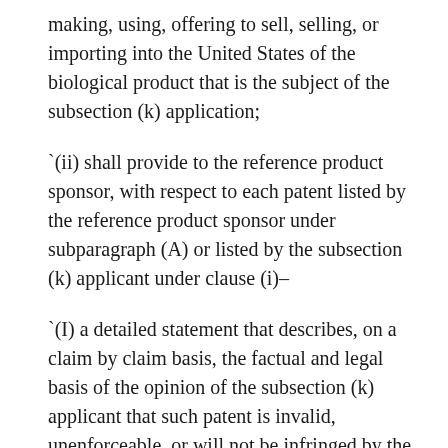making, using, offering to sell, selling, or importing into the United States of the biological product that is the subject of the subsection (k) application;
`(ii) shall provide to the reference product sponsor, with respect to each patent listed by the reference product sponsor under subparagraph (A) or listed by the subsection (k) applicant under clause (i)–
`(I) a detailed statement that describes, on a claim by claim basis, the factual and legal basis of the opinion of the subsection (k) applicant that such patent is invalid, unenforceable, or will not be infringed by the commercial marketing of